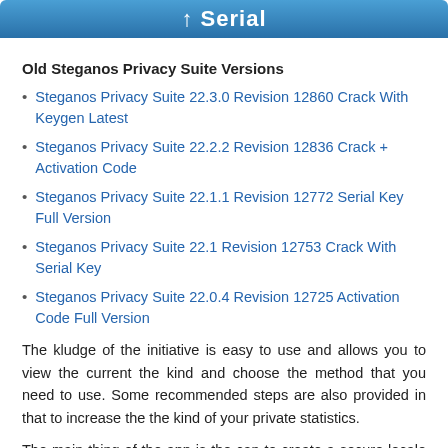Serial
Old Steganos Privacy Suite Versions
Steganos Privacy Suite 22.3.0 Revision 12860 Crack With Keygen Latest
Steganos Privacy Suite 22.2.2 Revision 12836 Crack + Activation Code
Steganos Privacy Suite 22.1.1 Revision 12772 Serial Key Full Version
Steganos Privacy Suite 22.1 Revision 12753 Crack With Serial Key
Steganos Privacy Suite 22.0.4 Revision 12725 Activation Code Full Version
The kludge of the initiative is easy to use and allows you to view the current the kind and choose the method that you need to use. Some recommended steps are also provided in that to increase the the kind of your private statistics.
The main thing of the app is the can to create a secure locale in